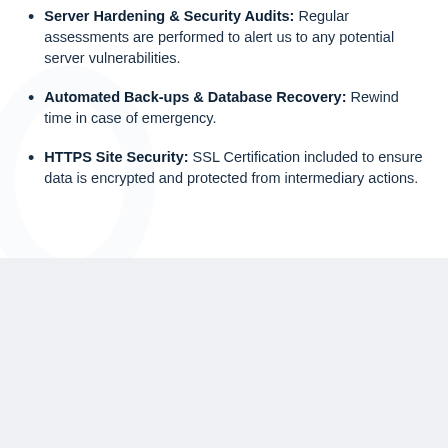Server Hardening & Security Audits: Regular assessments are performed to alert us to any potential server vulnerabilities.
Automated Back-ups & Database Recovery: Rewind time in case of emergency.
HTTPS Site Security: SSL Certification included to ensure data is encrypted and protected from intermediary actions.
SSL (Secure Socket Layer) Certificate